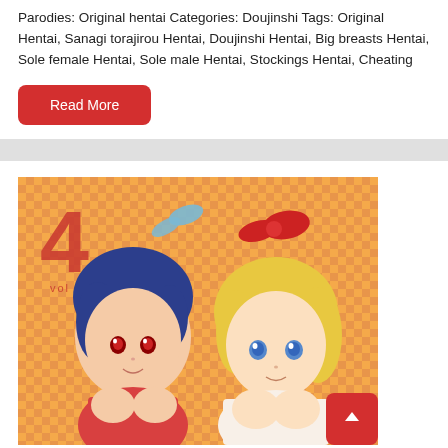Parodies: Original hentai Categories: Doujinshi Tags: Original Hentai, Sanagi torajirou Hentai, Doujinshi Hentai, Big breasts Hentai, Sole female Hentai, Sole male Hentai, Stockings Hentai, Cheating
Read More
[Figure (illustration): Manga/anime style cover image showing two female characters. Left character has dark blue hair and red eyes. Right character has blonde hair with a red ribbon/bow and blue eyes. Background is orange checkered pattern. Large number '4' and 'vol' text visible in upper left corner.]